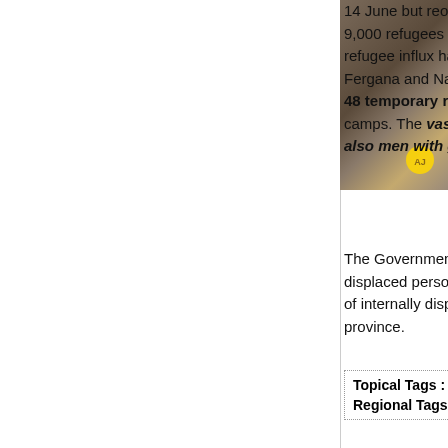14 June but reopened it on June 15 to allow passage. Some 9,000 refugees arrived from Kyrgyzstan on the 16 June. The refugee influx has been mainly to the Uzbek provinces of Andijan, Fergana and Namangan. The highest nu 48 temporary refugee camps in Andijan region. camps. The vast majority of the refugees are wo also men with gunshot wounds have been ente
The Government of Uzbekistan has requested inte internally displaced persons (IDP) in Kyrgyzstan w several concentrations of internally displaced ethn Uzbekistan, particularly in Jalal-Abad province.
| Topical Tags : Agencies   Consumer Applications |
| Regional Tags : Middle East/Africa   Europe |